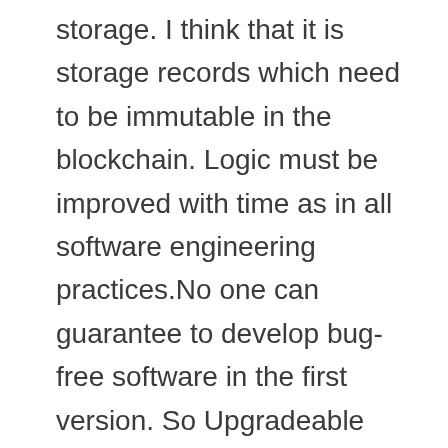storage. I think that it is storage records which need to be immutable in the blockchain. Logic must be improved with time as in all software engineering practices.No one can guarantee to develop bug-free software in the first version. So Upgradeable smart contracts with some upgrading governance mechanism can save many hacks.
In this post, I will touch the upgrade mechanism and in follow up post I will try